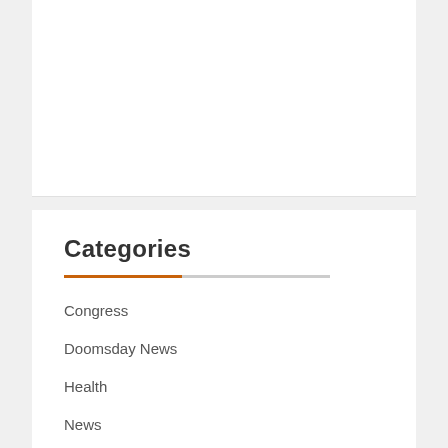Categories
Congress
Doomsday News
Health
News